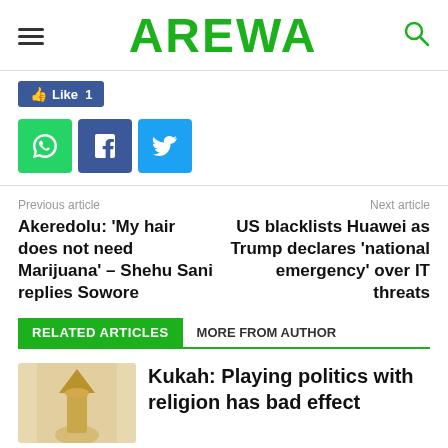AREWA
[Figure (screenshot): Social sharing buttons: Like 1 (Facebook), WhatsApp, Facebook, Twitter icons]
Previous article
Next article
Akeredolu: ‘My hair does not need Marijuana’ – Shehu Sani replies Sowore
US blacklists Huawei as Trump declares ‘national emergency’ over IT threats
RELATED ARTICLES  MORE FROM AUTHOR
[Figure (photo): Small thumbnail image of a golden religious figure or bishop's hat]
Kukah: Playing politics with religion has bad effect